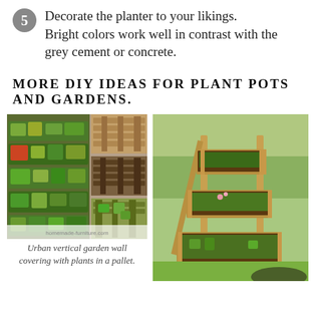5 Decorate the planter to your likings. Bright colors work well in contrast with the grey cement or concrete.
MORE DIY IDEAS FOR PLANT POTS AND GARDENS.
[Figure (photo): Collage of urban vertical garden wall with plants growing in pallets]
Urban vertical garden wall covering with plants in a pallet.
[Figure (photo): Wooden tiered raised garden planter with multiple levels holding soil and small plants outdoors on grass]